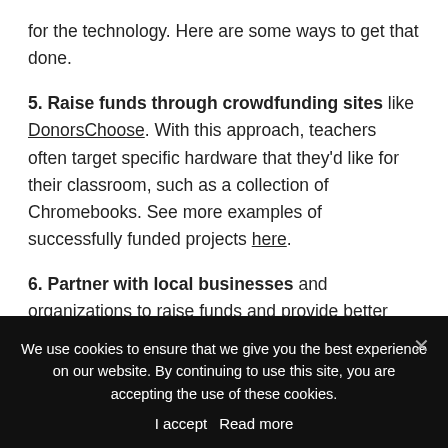for the technology. Here are some ways to get that done.
5. Raise funds through crowdfunding sites like DonorsChoose. With this approach, teachers often target specific hardware that they'd like for their classroom, such as a collection of Chromebooks. See more examples of successfully funded projects here.
6. Partner with local businesses and organizations to raise funds and provide better access.
We use cookies to ensure that we give you the best experience on our website. By continuing to use this site, you are accepting the use of these cookies.
I accept  Read more